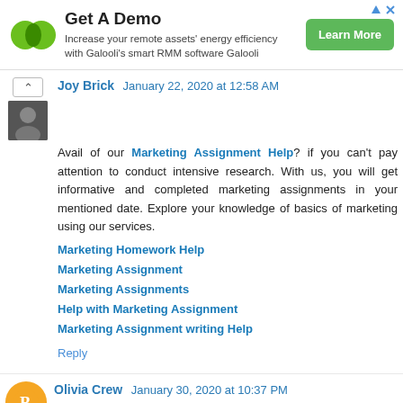[Figure (other): Galooli ad banner with green logo (two circles), Get A Demo headline, description text, and green Learn More button]
Joy Brick  January 22, 2020 at 12:58 AM
Avail of our Marketing Assignment Help? if you can't pay attention to conduct intensive research. With us, you will get informative and completed marketing assignments in your mentioned date. Explore your knowledge of basics of marketing using our services.
Marketing Homework Help
Marketing Assignment
Marketing Assignments
Help with Marketing Assignment
Marketing Assignment writing Help
Reply
Olivia Crew  January 30, 2020 at 10:37 PM
Excellent information Providing by your Article, thank u...